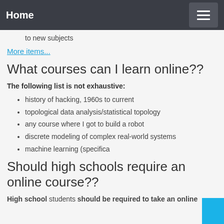Home
to new subjects
More items...
What courses can I learn online??
The following list is not exhaustive:
history of hacking, 1960s to current
topological data analysis/statistical topology
any course where I got to build a robot
discrete modeling of complex real-world systems
machine learning (specifica
Should high schools require an online course??
High school students should be required to take an online